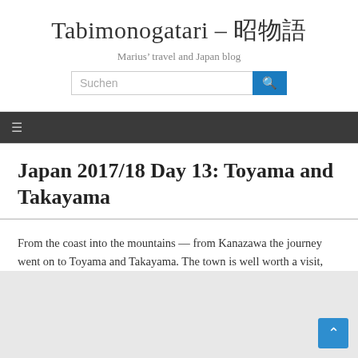Tabimonogatari – 旅物語
Marius' travel and Japan blog
Suchen [search bar with button]
Japan 2017/18 Day 13: Toyama and Takayama
From the coast into the mountains — from Kanazawa the journey went on to Toyama and Takayama. The town is well worth a visit,